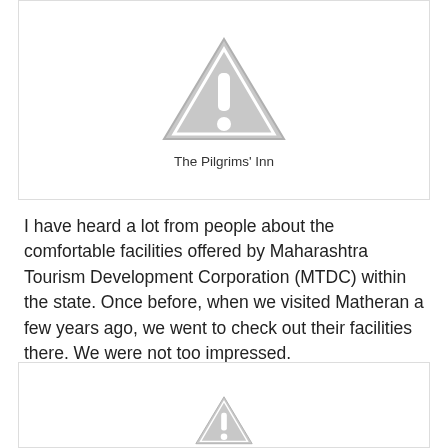[Figure (illustration): Gray warning triangle with exclamation mark icon — placeholder image for The Pilgrims' Inn]
The Pilgrims' Inn
I have heard a lot from people about the comfortable facilities offered by Maharashtra Tourism Development Corporation (MTDC) within the state. Once before, when we visited Matheran a few years ago, we went to check out their facilities there. We were not too impressed.
[Figure (illustration): Gray warning triangle with exclamation mark icon — placeholder image (partially visible)]